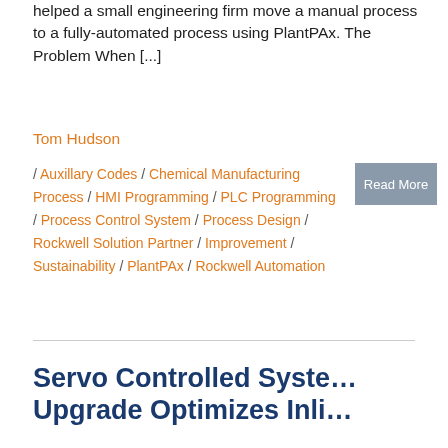helped a small engineering firm move a manual process to a fully-automated process using PlantPAx. The Problem When [...]
Tom Hudson
/ Auxillary Codes / Chemical Manufacturing Process / HMI Programming / PLC Programming / Process Control System / Process Design / Rockwell Solution Partner / Improvement / Sustainability / PlantPAx / Rockwell Automation
Servo Controlled System Upgrade Optimizes Inli...